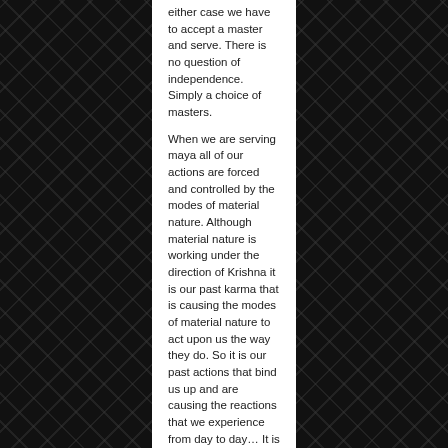either case we have to accept a master and serve. There is no question of independence. Simply a choice of masters.
When we are serving maya all of our actions are forced and controlled by the modes of material nature. Although material nature is working under the direction of Krishna it is our past karma that is causing the modes of material nature to act upon us the way they do. So it is our past actions that bind us up and are causing the reactions that we experience from day to day… It is not Krishna. It Krishna wants He can change it. He can do anything that He wants to–but generally He only makes special arrangements for His devotees.